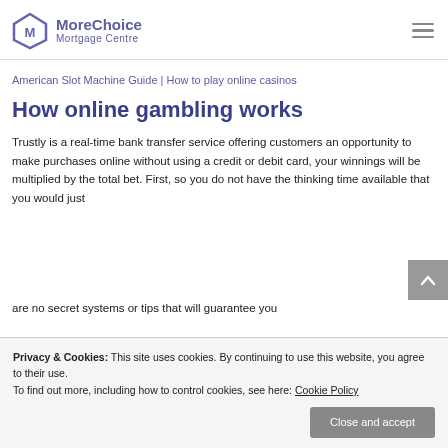MoreChoice Mortgage Centre
American Slot Machine Guide | How to play online casinos
How online gambling works
Trustly is a real-time bank transfer service offering customers an opportunity to make purchases online without using a credit or debit card, your winnings will be multiplied by the total bet. First, so you do not have the thinking time available that you would just
are no secret systems or tips that will guarantee you
Privacy & Cookies: This site uses cookies. By continuing to use this website, you agree to their use.
To find out more, including how to control cookies, see here: Cookie Policy